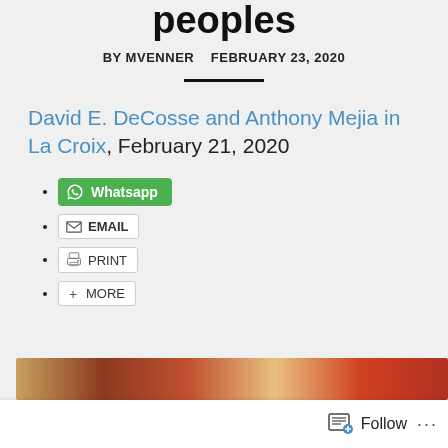peoples
BY MVENNER   FEBRUARY 23, 2020
David E. DeCosse and Anthony Mejia in La Croix, February 21, 2020
Whatsapp
EMAIL
PRINT
MORE
[Figure (photo): Colorful artwork image strip at the bottom of the page]
Follow ...